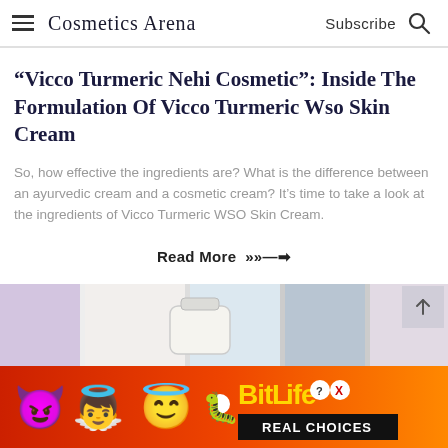Cosmetics Arena   Subscribe 🔍
“Vicco Turmeric Nehi Cosmetic”: Inside The Formulation Of Vicco Turmeric Wso Skin Cream
So, how effective the ingredients are? What is the difference between an ayurvedic cream and a cosmetic cream? It’s time to take a look at the ingredients of Vicco Turmeric WSO Skin Cream.
Read More »—➡
[Figure (photo): Bottom strip showing cosmetic cream jars and product imagery in muted pastel tones]
[Figure (infographic): BitLife Real Choices advertisement banner with emoji characters (devil, angel, winking face) and sperm emoji on orange-red gradient background]